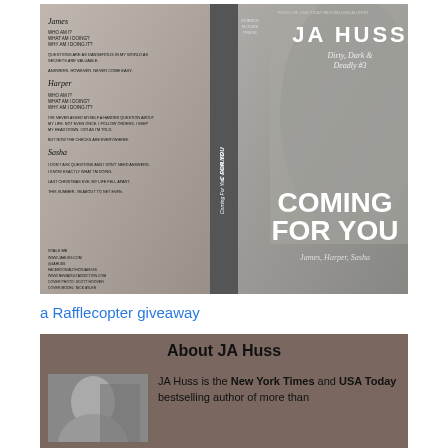[Figure (illustration): Book cover for 'Coming For You' by JA Huss, Dirty Dark and Deadly #3. Shows a shirtless man on the right side with the title text 'COMING FOR YOU' in large white letters. Left side has character descriptions for James, Harper, and Sasha. Spine reads 'Coming For You by JA Huss'. Publisher: Science Future Press.]
a Rafflecopter giveaway
About JA Huss
JA Huss is the New York Times and USA Today bestselling author of more than